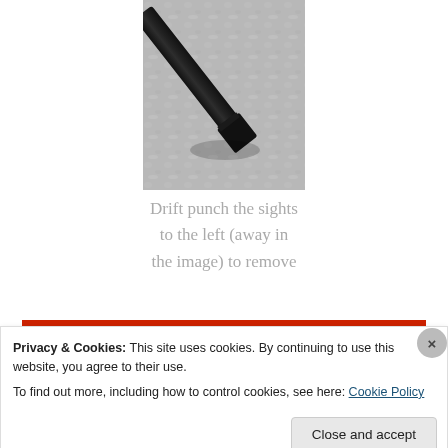[Figure (photo): Close-up photo of a drift punch/tool tip resting on a grey concrete or gravel surface. The tool is black/dark metal, oriented diagonally.]
Drift punch the sights to the left (away in the image) to remove
[Figure (screenshot): Red banner with a black 'Start reading' button in italic text in the center.]
Privacy & Cookies: This site uses cookies. By continuing to use this website, you agree to their use.
To find out more, including how to control cookies, see here: Cookie Policy
Close and accept